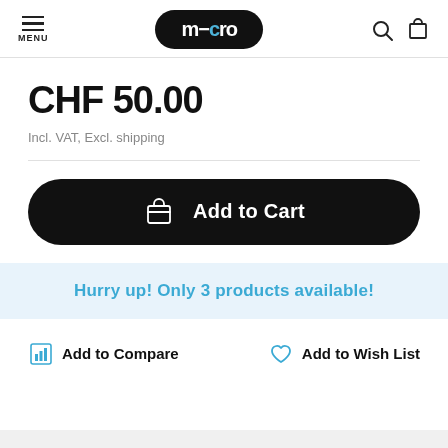MENU | m-cro logo | search and cart icons
CHF 50.00
Incl. VAT, Excl. shipping
Add to Cart
Hurry up! Only 3 products available!
Add to Compare
Add to Wish List